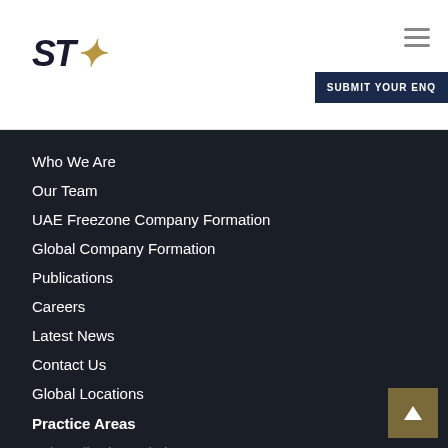[Figure (logo): STA law firm logo with gold accent]
SUBMIT YOUR ENQ
Who We Are
Our Team
UAE Freezone Company Formation
Global Company Formation
Publications
Careers
Latest News
Contact Us
Global Locations
Practice Areas
Debt Collection Dubai
Corporate Law Practice
Franchising